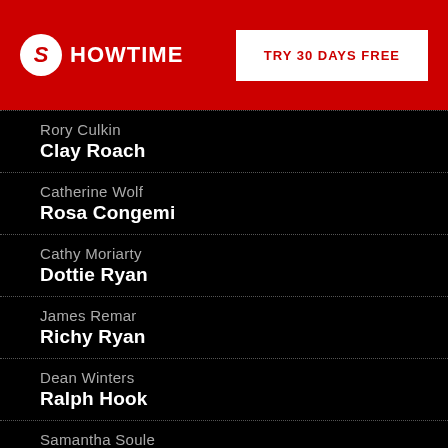SHOWTIME | TRY 30 DAYS FREE
Rory Culkin / Clay Roach
Catherine Wolf / Rosa Congemi
Cathy Moriarty / Dottie Ryan
James Remar / Richy Ryan
Dean Winters / Ralph Hook
Samantha Soule / Michaela Freda
KeiLyn Durrel Jones / Andre Benjamin
WRITTEN BY